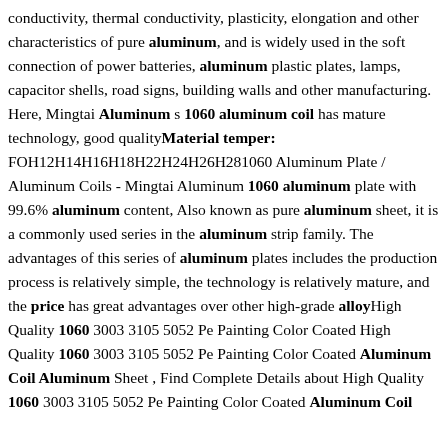conductivity, thermal conductivity, plasticity, elongation and other characteristics of pure aluminum, and is widely used in the soft connection of power batteries, aluminum plastic plates, lamps, capacitor shells, road signs, building walls and other manufacturing. Here, Mingtai Aluminum s 1060 aluminum coil has mature technology, good qualityMaterial temper: FOH12H14H16H18H22H24H26H281060 Aluminum Plate / Aluminum Coils - Mingtai Aluminum 1060 aluminum plate with 99.6% aluminum content, Also known as pure aluminum sheet, it is a commonly used series in the aluminum strip family. The advantages of this series of aluminum plates includes the production process is relatively simple, the technology is relatively mature, and the price has great advantages over other high-grade alloyHigh Quality 1060 3003 3105 5052 Pe Painting Color Coated High Quality 1060 3003 3105 5052 Pe Painting Color Coated Aluminum Coil Aluminum Sheet , Find Complete Details about High Quality 1060 3003 3105 5052 Pe Painting Color Coated Aluminum Coil